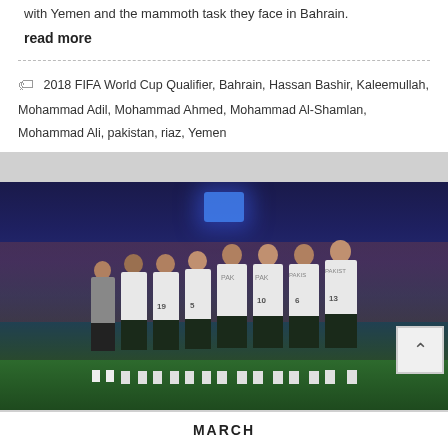with Yemen and the mammoth task they face in Bahrain.
read more
2018 FIFA World Cup Qualifier, Bahrain, Hassan Bashir, Kaleemullah, Mohammad Adil, Mohammad Ahmed, Mohammad Al-Shamlan, Mohammad Ali, pakistan, riaz, Yemen
[Figure (photo): Pakistan national football team players lined up on the pitch wearing white jerseys and dark shorts, hands on chests, apparently during national anthem at a stadium under floodlights at night.]
MARCH